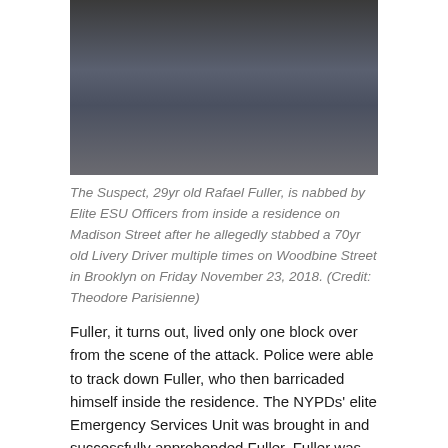[Figure (photo): Photo of a suspect, Rafael Fuller, being apprehended by Elite ESU Officers outside a residence.]
The Suspect, 29yr old Rafael Fuller, is nabbed by Elite ESU Officers from inside a residence on Madison Street after he allegedly stabbed a 70yr old Livery Driver multiple times on Woodbine Street in Brooklyn on Friday November 23, 2018. (Credit: Theodore Parisienne)
Fuller, it turns out, lived only one block over from the scene of the attack. Police were able to track down Fuller, who then barricaded himself inside the residence. The NYPDs' elite Emergency Services Unit was brought in and successfully apprehended Fuller. Fuller was later charged with Murder 2 and Criminal Possession of a Weapon.